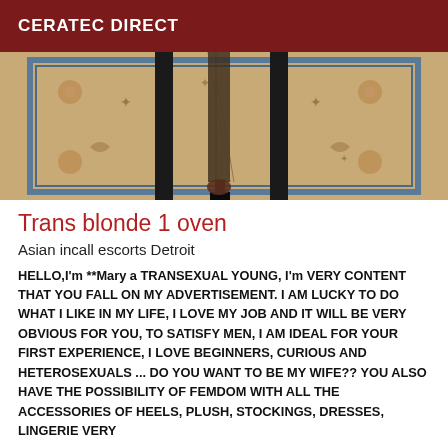CERATEC DIRECT
[Figure (photo): Close-up photo of legs in fishnet stockings and heels standing on a decorative carpet]
Trans blonde 1 oven
Asian incall escorts Detroit
HELLO,I'm **Mary a TRANSEXUAL YOUNG, I'm VERY CONTENT THAT YOU FALL ON MY ADVERTISEMENT. I AM LUCKY TO DO WHAT I LIKE IN MY LIFE, I LOVE MY JOB AND IT WILL BE VERY OBVIOUS FOR YOU, TO SATISFY MEN, I AM IDEAL FOR YOUR FIRST EXPERIENCE, I LOVE BEGINNERS, CURIOUS AND HETEROSEXUALS ... DO YOU WANT TO BE MY WIFE?? YOU ALSO HAVE THE POSSIBILITY OF FEMDOM WITH ALL THE ACCESSORIES OF HEELS, PLUSH, STOCKINGS, DRESSES, LINGERIE VERY